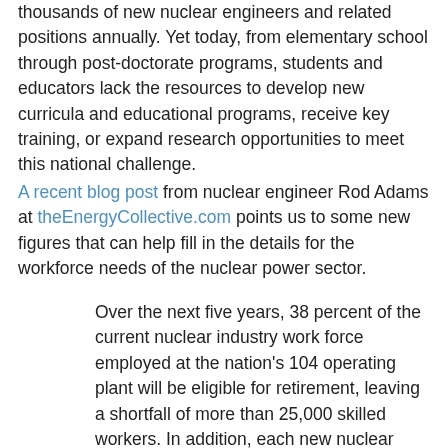thousands of new nuclear engineers and related positions annually. Yet today, from elementary school through post-doctorate programs, students and educators lack the resources to develop new curricula and educational programs, receive key training, or expand research opportunities to meet this national challenge.
A recent blog post from nuclear engineer Rod Adams at theEnergyCollective.com points us to some new figures that can help fill in the details for the workforce needs of the nuclear power sector.
Over the next five years, 38 percent of the current nuclear industry work force employed at the nation's 104 operating plant will be eligible for retirement, leaving a shortfall of more than 25,000 skilled workers. In addition, each new nuclear plant will create up to 2,400 temporary and highly-paid positions over the five-year construction period and 400-to-800 new permanent careers.